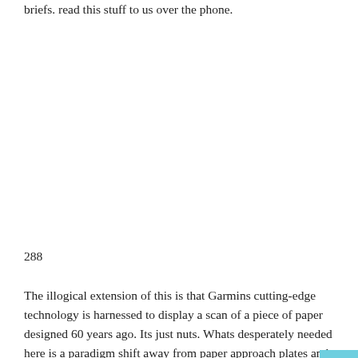briefs. read this stuff to us over the phone.
288
The illogical extension of this is that Garmins cutting-edge technology is harnessed to display a scan of a piece of paper designed 60 years ago. Its just nuts. Whats desperately needed here is a paradigm shift away from paper approach plates and toward a data driven concept that presents you with